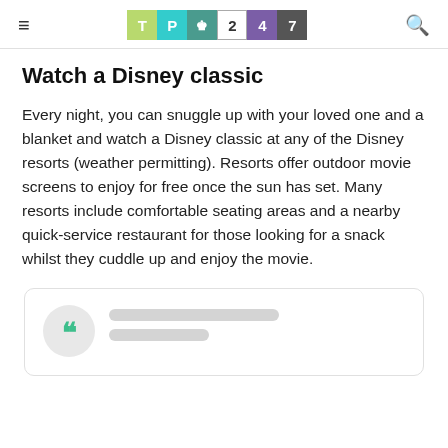TP247 [logo] navigation header
Watch a Disney classic
Every night, you can snuggle up with your loved one and a blanket and watch a Disney classic at any of the Disney resorts (weather permitting). Resorts offer outdoor movie screens to enjoy for free once the sun has set. Many resorts include comfortable seating areas and a nearby quick-service restaurant for those looking for a snack whilst they cuddle up and enjoy the movie.
[Figure (other): Social media embed or testimonial card with a large green quotation mark icon on a grey circular background, and two grey placeholder lines representing blurred/redacted text.]